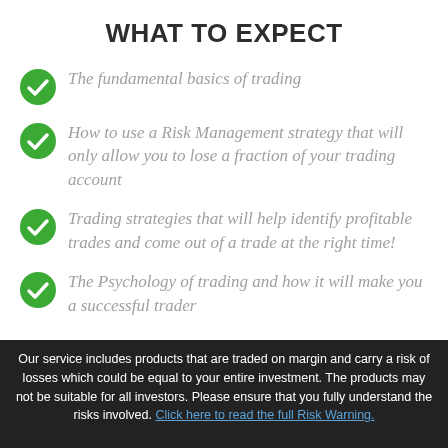WHAT TO EXPECT
The fundamental basics of trading
How to use a Risk Management strategy that will only allow you to lose a fraction of your trading account
Trading strategies that will help identify profitable trades and come out of a trade at the right time!
The Psychology of trading and how it will make you a successful trader
Our service includes products that are traded on margin and carry a risk of losses which could be equal to your entire investment. The products may not be suitable for all investors. Please ensure that you fully understand the risks involved. Click here to read the full Risk Warning.